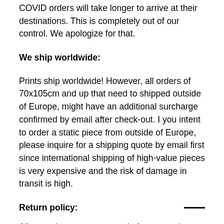COVID orders will take longer to arrive at their destinations. This is completely out of our control. We apologize for that.
We ship worldwide:
Prints ship worldwide! However, all orders of 70x105cm and up that need to shipped outside of Europe, might have an additional surcharge confirmed by email after check-out. I you intent to order a static piece from outside of Europe, please inquire for a shipping quote by email first since international shipping of high-value pieces is very expensive and the risk of damage in transit is high.
Return policy:
All artworks are custom made for you and are